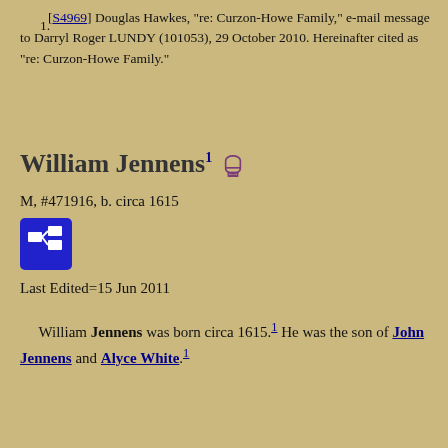1. [S4969] Douglas Hawkes, "re: Curzon-Howe Family," e-mail message to Darryl Roger LUNDY (101053), 29 October 2010. Hereinafter cited as "re: Curzon-Howe Family."
William Jennens
M, #471916, b. circa 1615
[Figure (other): Pedigree chart icon button (blue square with network/hierarchy symbol)]
Last Edited=15 Jun 2011
William Jennens was born circa 1615.1 He was the son of John Jennens and Alyce White.1